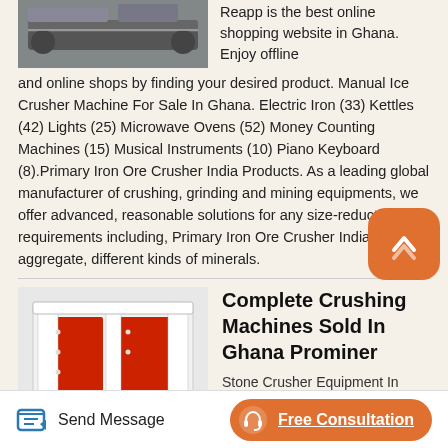[Figure (photo): Industrial machinery / conveyor equipment photo at top left]
Reapp is the best online shopping website in Ghana. Enjoy offline and online shops by finding your desired product. Manual Ice Crusher Machine For Sale In Ghana. Electric Iron (33) Kettles (42) Lights (25) Microwave Ovens (52) Money Counting Machines (15) Musical Instruments (10) Piano Keyboard (8).Primary Iron Ore Crusher India Products. As a leading global manufacturer of crushing, grinding and mining equipments, we offer advanced, reasonable solutions for any size-reduction requirements including, Primary Iron Ore Crusher India, quarry, aggregate, different kinds of minerals.
[Figure (photo): White and red crushing machine for sale in Ghana]
Complete Crushing Machines Sold In Ghana Prominer
Stone Crusher Equipment In
Send Message
Free Consultation